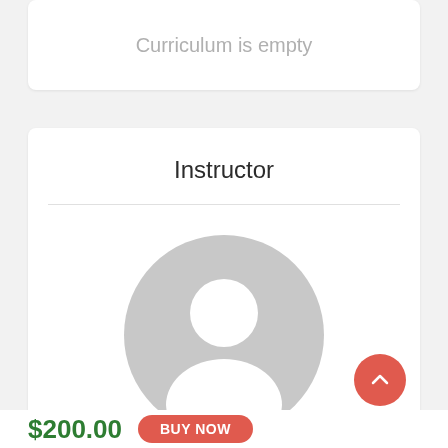Curriculum is empty
Instructor
[Figure (illustration): Default user avatar placeholder - grey circle with white silhouette of a person (head and shoulders)]
$200.00
BUY NOW